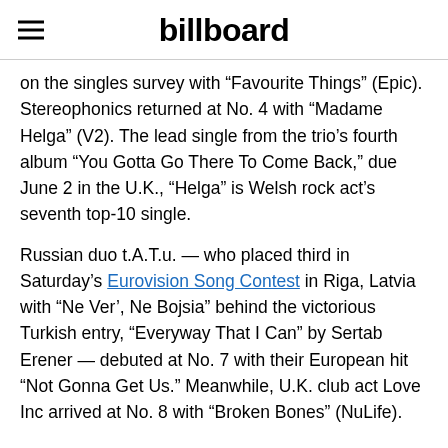billboard
on the singles survey with “Favourite Things” (Epic). Stereophonics returned at No. 4 with “Madame Helga” (V2). The lead single from the trio’s fourth album “You Gotta Go There To Come Back,” due June 2 in the U.K., “Helga” is Welsh rock act’s seventh top-10 single.
Russian duo t.A.T.u. — who placed third in Saturday’s Eurovision Song Contest in Riga, Latvia with “Ne Ver’, Ne Bojsia” behind the victorious Turkish entry, “Everyway That I Can” by Sertab Erener — debuted at No. 7 with their European hit “Not Gonna Get Us.” Meanwhile, U.K. club act Love Inc arrived at No. 8 with “Broken Bones” (NuLife).